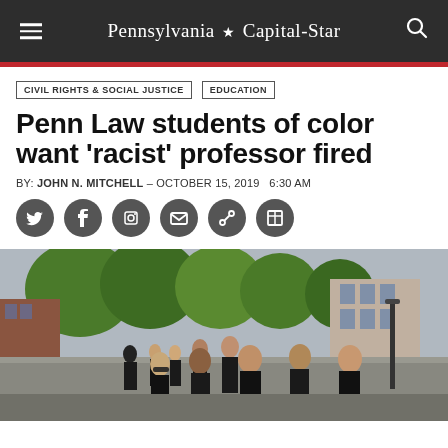Pennsylvania Capital-Star
CIVIL RIGHTS & SOCIAL JUSTICE   EDUCATION
Penn Law students of color want 'racist' professor fired
BY: JOHN N. MITCHELL – OCTOBER 15, 2019   6:30 AM
[Figure (other): Social media share icons: Twitter, LinkedIn, Facebook, Email, Link, Print]
[Figure (photo): A group of students wearing black shirts walking outdoors on a city street with trees and brick buildings in the background]